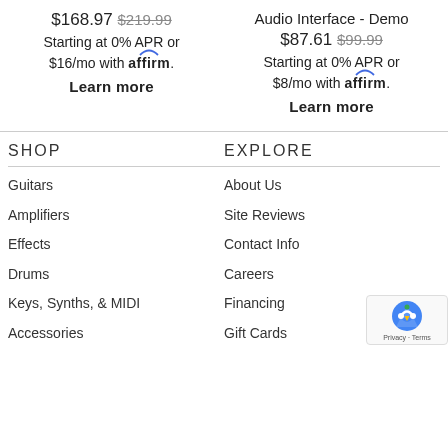$168.97 $219.99 Starting at 0% APR or $16/mo with affirm. Learn more
Audio Interface - Demo $87.61 $99.99 Starting at 0% APR or $8/mo with affirm. Learn more
SHOP
EXPLORE
Guitars
About Us
Amplifiers
Site Reviews
Effects
Contact Info
Drums
Careers
Keys, Synths, & MIDI
Financing
Accessories
Gift Cards